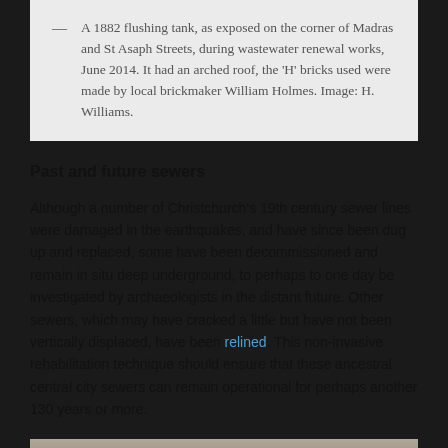— A 1882 flushing tank, as exposed on the corner of Madras and St Asaph Streets, during wastewater renewal works, June 2014. It had an arched roof, the 'H' bricks used were made by local brickmaker William Holmes. Image: H. Williams.
Past and future sewers
Although a number of Christchurch's 19th century sewer lines were damaged in the earthquakes, and have since been dug up and replaced, some have been decommissioned and remain in situ deep underground, to perhaps to one day be investigated by archaeologists in the distant future. Other sewers, which may have cracked a little but have not been vertically displaced, have been relined. This non-invasive rehabilitation technique should ensure that these ancestral central city sewers can remain operational for perhaps another 130 years or more.
[Figure (photo): Partial view of a historical photograph, bottom of page, partially cut off]